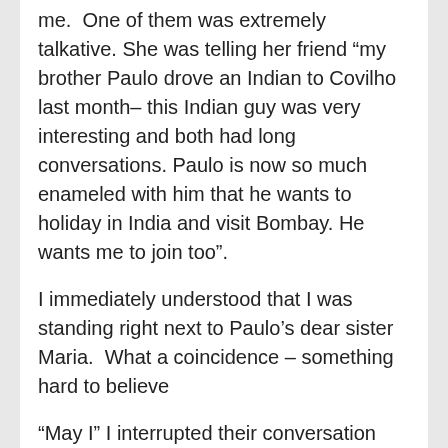me.  One of them was extremely talkative. She was telling her friend “my brother Paulo drove an Indian to Covilho last month– this Indian guy was very interesting and both had long conversations. Paulo is now so much enameled with him that he wants to holiday in India and visit Bombay. He wants me to join too”.
I immediately understood that I was standing right next to Paulo’s dear sister Maria.  What a coincidence – something hard to believe
“May I” I interrupted their conversation and introduced myself without mentioning Paulo.
The queue was long enough for more conversations. Amongst other topics, I spoke